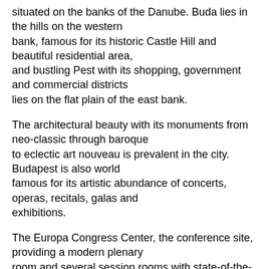situated on the banks of the Danube. Buda lies in the hills on the western bank, famous for its historic Castle Hill and beautiful residential area, and bustling Pest with its shopping, government and commercial districts lies on the flat plain of the east bank.
The architectural beauty with its monuments from neo-classic through baroque to eclectic art nouveau is prevalent in the city. Budapest is also world famous for its artistic abundance of concerts, operas, recitals, galas and exhibitions.
The Europa Congress Center, the conference site, providing a modern plenary room and several session rooms with state-of-the-art technology, will be a unique venue to organize the event.